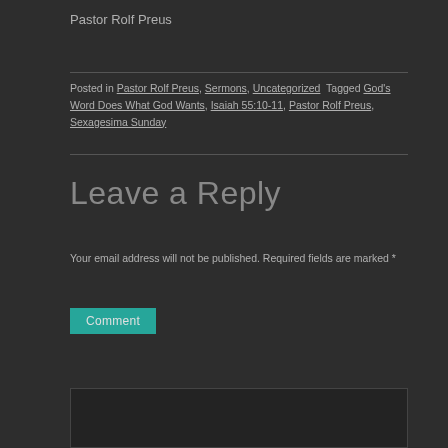Pastor Rolf Preus
Posted in Pastor Rolf Preus, Sermons, Uncategorized Tagged God's Word Does What God Wants, Isaiah 55:10-11, Pastor Rolf Preus, Sexagesima Sunday
Leave a Reply
Your email address will not be published. Required fields are marked *
Comment
[Figure (screenshot): Comment label button in teal/green color with spellcheck icon and checkmark arrow below it, and a dark comment textarea box]